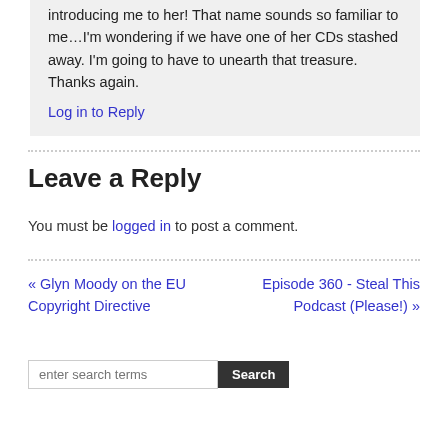introducing me to her! That name sounds so familiar to me…I'm wondering if we have one of her CDs stashed away. I'm going to have to unearth that treasure. Thanks again.
Log in to Reply
Leave a Reply
You must be logged in to post a comment.
« Glyn Moody on the EU Copyright Directive
Episode 360 - Steal This Podcast (Please!) »